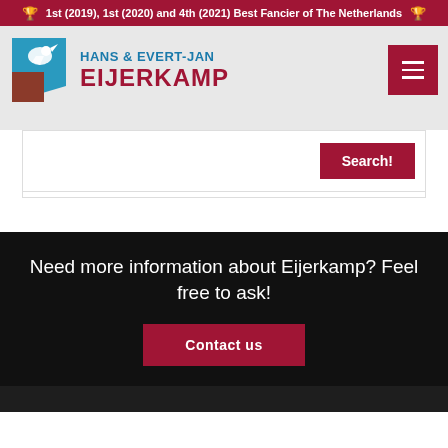🏆 1st (2019), 1st (2020) and 4th (2021) Best Fancier of The Netherlands 🏆
[Figure (logo): Hans & Evert-Jan Eijerkamp logo with pigeon graphic and text]
Search!
Need more information about Eijerkamp? Feel free to ask!
Contact us